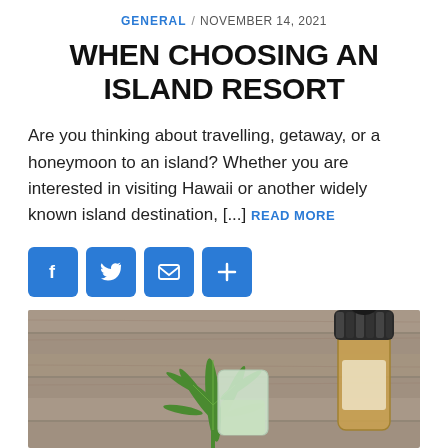GENERAL / NOVEMBER 14, 2021
WHEN CHOOSING AN ISLAND RESORT
Are you thinking about travelling, getaway, or a honeymoon to an island? Whether you are interested in visiting Hawaii or another widely known island destination, [...] READ MORE
[Figure (infographic): Row of four blue social sharing icon buttons: Facebook (f), Twitter (bird), Email (envelope), Add (+)]
[Figure (photo): Photo of a cannabis leaf and a dropper bottle on a wooden surface]